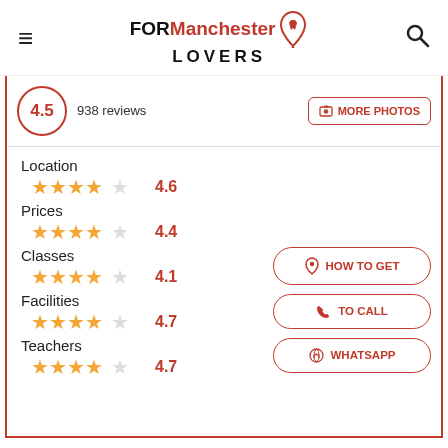FOR Manchester LOVERS
4.5  938 reviews
MORE PHOTOS
Location  4.6
Prices  4.4
Classes  4.1
Facilities  4.7
Teachers  4.7
HOW TO GET
TO CALL
WHATSAPP